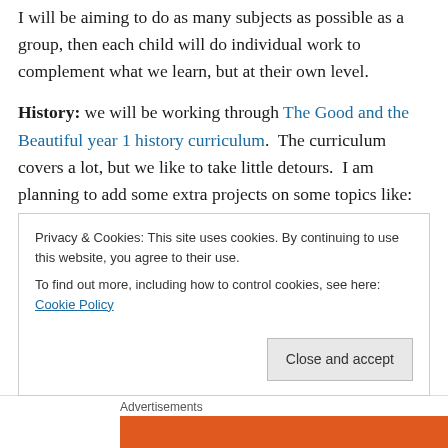I will be aiming to do as many subjects as possible as a group, then each child will do individual work to complement what we learn, but at their own level.
History: we will be working through The Good and the Beautiful year 1 history curriculum. The curriculum covers a lot, but we like to take little detours. I am planning to add some extra projects on some topics like: castles, knights and the Vikings. For fun, we have read ahead many books about the middle ages, I can see this is going to be a very hot topic in our home. Caleb has been [truncated]
Privacy & Cookies: This site uses cookies. By continuing to use this website, you agree to their use. To find out more, including how to control cookies, see here: Cookie Policy
Close and accept
Advertisements